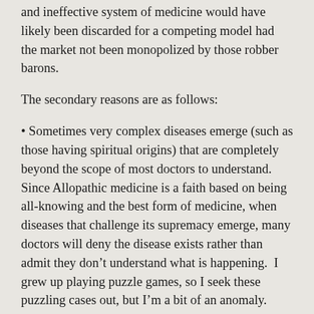and ineffective system of medicine would have likely been discarded for a competing model had the market not been monopolized by those robber barons.
The secondary reasons are as follows:
Sometimes very complex diseases emerge (such as those having spiritual origins) that are completely beyond the scope of most doctors to understand.  Since Allopathic medicine is a faith based on being all-knowing and the best form of medicine, when diseases that challenge its supremacy emerge, many doctors will deny the disease exists rather than admit they don't understand what is happening.  I grew up playing puzzle games, so I seek these puzzling cases out, but I'm a bit of an anomaly.